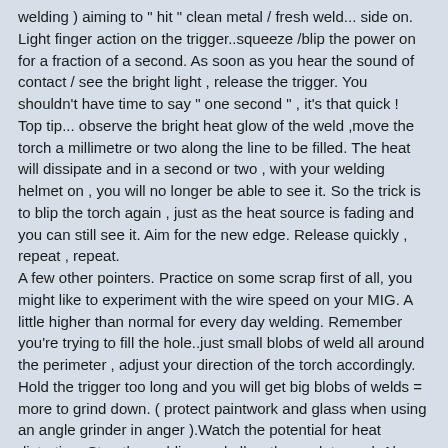welding ) aiming to " hit " clean metal / fresh weld... side on. Light finger action on the trigger..squeeze /blip the power on for a fraction of a second. As soon as you hear the sound of contact / see the bright light , release the trigger. You shouldn't have time to say " one second " , it's that quick !
Top tip... observe the bright heat glow of the weld ,move the torch a millimetre or two along the line to be filled. The heat will dissipate and in a second or two , with your welding helmet on , you will no longer be able to see it. So the trick is to blip the torch again , just as the heat source is fading and you can still see it. Aim for the new edge. Release quickly , repeat , repeat.
A few other pointers. Practice on some scrap first of all, you might like to experiment with the wire speed on your MIG. A little higher than normal for every day welding. Remember you're trying to fill the hole..just small blobs of weld all around the perimeter , adjust your direction of the torch accordingly. Hold the trigger too long and you will get big blobs of welds = more to grind down. ( protect paintwork and glass when using an angle grinder in anger ).Watch the potential for heat distortion. Stop the welding and allow the work to cool. Always start with really clean metal. School boy error ... the gas supply isn't low / running out / has run out has it ? That produces rubbish welds . I leave you to guess how I know that one. That and the wire running out, stopping the machine. Had a lot of welding to do in the early days and I